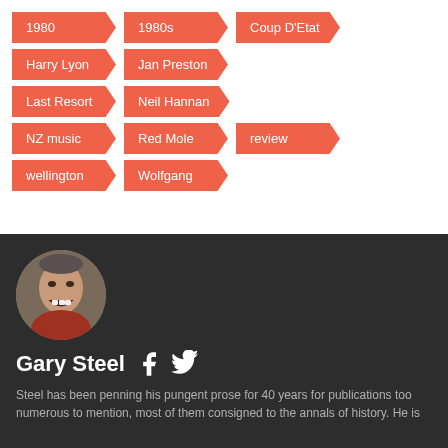1980
1980s
Coup D'Etat
Harry Lyon
Jan Preston
Last Resort
Neil Hannan
NZ music
Red Mole
review
wellington
Wolfgang
[Figure (photo): Circular profile photo of Gary Steel, a man with an open mouth expression]
Gary Steel
Steel has been penning his pungent prose for 40 years for publications too numerous to mention, most of them consigned to the annals of history. He is